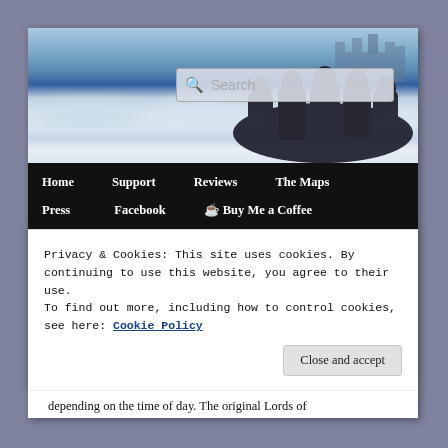[Figure (illustration): Website header banner with fantasy winter landscape showing snow-covered terrain with dark horses and a castle silhouette in the background, with a search bar overlay]
Home  Support  Reviews  The Maps  Press  Facebook  ☕ Buy Me a Coffee
MONTHLY ARCHIVES: OCTOBER 2013
Privacy & Cookies: This site uses cookies. By continuing to use this website, you agree to their use.
To find out more, including how to control cookies, see here: Cookie Policy
Close and accept
depending on the time of day. The original Lords of